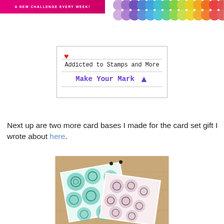[Figure (illustration): Pink/magenta banner with white text 'A NEW CHALLENGE EVERY WEEK!' at top left]
[Figure (illustration): Rainbow scallop pattern banner at top right]
[Figure (illustration): Addicted to Stamps and More - Make Your Mark logo box with heart and purple arrow]
Next up are two more card bases I made for the card set gift I wrote about here.
[Figure (photo): Two handmade cards with rose/flower stamped patterns in teal and pink on a wooden surface]